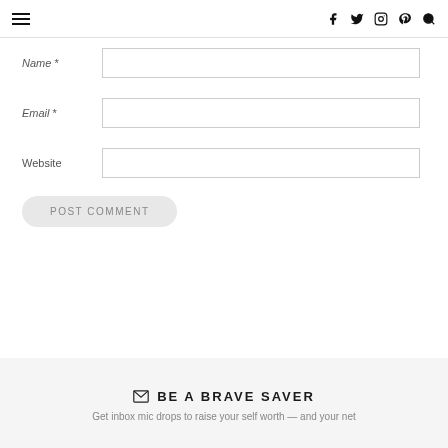≡  f  🐦  ○  ⊕  🔍
Name *
Email *
Website
POST COMMENT
BE A BRAVE SAVER
Get inbox mic drops to raise your self worth — and your net